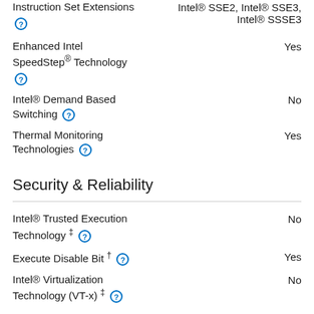Instruction Set Extensions ⓘ — Intel® SSE2, Intel® SSE3, Intel® SSSE3
Enhanced Intel SpeedStep® Technology ⓘ — Yes
Intel® Demand Based Switching ⓘ — No
Thermal Monitoring Technologies ⓘ — Yes
Security & Reliability
Intel® Trusted Execution Technology ‡ ⓘ — No
Execute Disable Bit † ⓘ — Yes
Intel® Virtualization Technology (VT-x) ‡ ⓘ — No